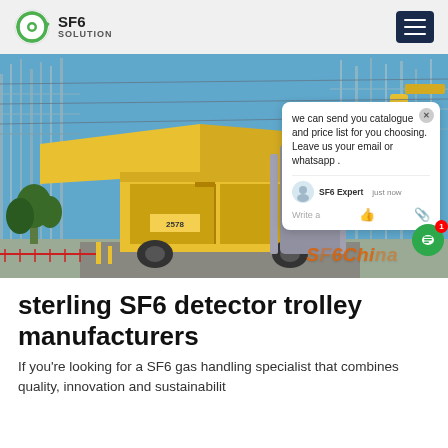SF6 SOLUTION
[Figure (photo): Photo of a yellow SF6 gas handling truck/container at an electrical substation with tall towers and equipment. A chat popup overlay is visible on the right side with text: 'we can send you catalogue and price list for you choosing. Leave us your email or whatsapp.' Signed by SF6 Expert. A watermark reads 'SF6China' in orange at the bottom right.]
sterling SF6 detector trolley manufacturers
If you're looking for a SF6 gas handling specialist that combines quality, innovation and sustainability,